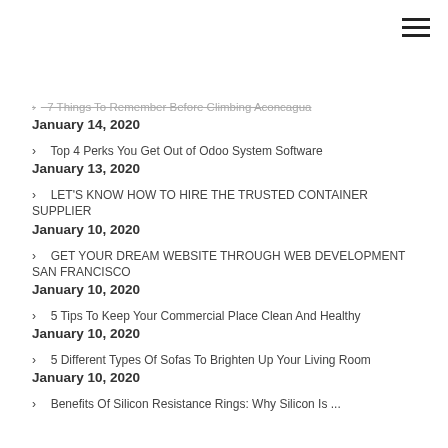› 7 Things To Remember Before Climbing Aconcagua
January 14, 2020
› Top 4 Perks You Get Out of Odoo System Software
January 13, 2020
› LET'S KNOW HOW TO HIRE THE TRUSTED CONTAINER SUPPLIER
January 10, 2020
› GET YOUR DREAM WEBSITE THROUGH WEB DEVELOPMENT SAN FRANCISCO
January 10, 2020
› 5 Tips To Keep Your Commercial Place Clean And Healthy
January 10, 2020
› 5 Different Types Of Sofas To Brighten Up Your Living Room
January 10, 2020
› Benefits Of Silicon Resistance Rings: Why Silicon Is ...